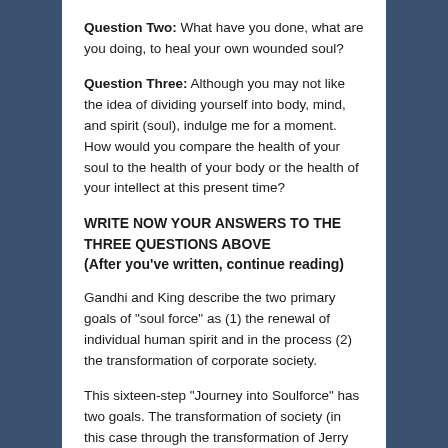Question Two: What have you done, what are you doing, to heal your own wounded soul?
Question Three: Although you may not like the idea of dividing yourself into body, mind, and spirit (soul), indulge me for a moment. How would you compare the health of your soul to the health of your body or the health of your intellect at this present time?
WRITE NOW YOUR ANSWERS TO THE THREE QUESTIONS ABOVE
(After you've written, continue reading)
Gandhi and King describe the two primary goals of "soul force" as (1) the renewal of individual human spirit and in the process (2) the transformation of corporate society.
This sixteen-step "Journey into Soulforce" has two goals. The transformation of society (in this case through the transformation of Jerry Falwell). But changing Jerry (and by that changing society) is our second goal. Actually, our